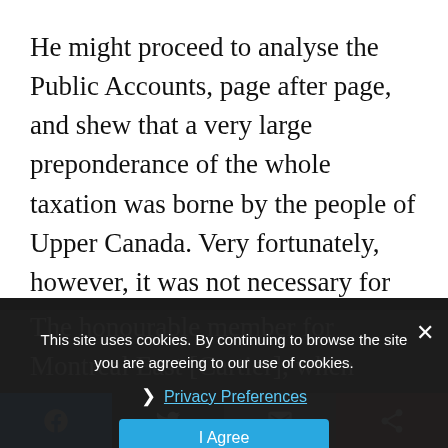He might proceed to analyse the Public Accounts, page after page, and shew that a very large preponderance of the whole taxation was borne by the people of Upper Canada. Very fortunately, however, it was not necessary for him to do that. He could stand on the doctrines enunciated by honourable gentlemen opposite.
The honourable member for Montreal East [Cartier], when addressing his constituents in Vercheres, had alleged that Upper Canada paid two-thirds of the entire taxation of the province. The...
This site uses cookies. By continuing to browse the site you are agreeing to our use of cookies.
Privacy Preferences
I Agree